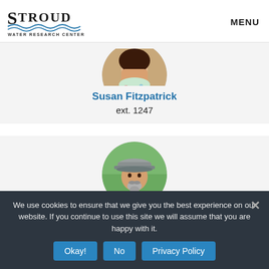Stroud Water Research Center | MENU
[Figure (photo): Circular portrait photo of Susan Fitzpatrick (partially cropped at top), woman with dark hair]
Susan Fitzpatrick
ext. 1247
[Figure (photo): Circular portrait photo of a man wearing a gray cap with gray beard, outdoors]
We use cookies to ensure that we give you the best experience on our website. If you continue to use this site we will assume that you are happy with it.
Okay! | No | Privacy Policy